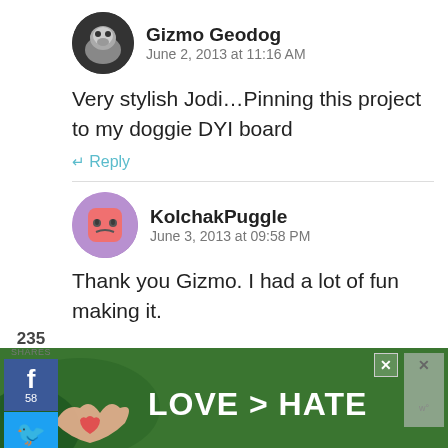[Figure (photo): Avatar of Gizmo Geodog user, dark circular image showing a small dog]
Gizmo Geodog
June 2, 2013 at 11:16 AM
Very stylish Jodi…Pinning this project to my doggie DYI board
Reply
[Figure (photo): Avatar of KolchakPuggle user, pink/purple square character with sad face]
KolchakPuggle
June 3, 2013 at 09:58 PM
Thank you Gizmo. I had a lot of fun making it.
[Figure (screenshot): Social share sidebar with Facebook (58), Twitter, Pinterest (17), heart (236), and share buttons]
[Figure (photo): Ad banner at bottom showing hands making heart shape with text LOVE > HATE]